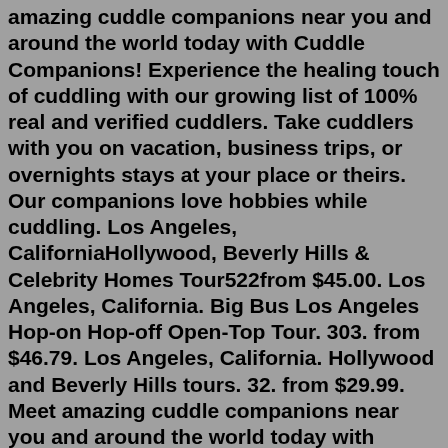amazing cuddle companions near you and around the world today with Cuddle Companions! Experience the healing touch of cuddling with our growing list of 100% real and verified cuddlers. Take cuddlers with you on vacation, business trips, or overnights stays at your place or theirs. Our companions love hobbies while cuddling. Los Angeles, CaliforniaHollywood, Beverly Hills & Celebrity Homes Tour522from $45.00. Los Angeles, California. Big Bus Los Angeles Hop-on Hop-off Open-Top Tour. 303. from $46.79. Los Angeles, California. Hollywood and Beverly Hills tours. 32. from $29.99. Meet amazing cuddle companions near you and around the world today with Cuddle Companions! Experience the healing touch of cuddling with our growing list of 100% real and verified cuddlers. Take cuddlers with you on vacation, business trips, or overnights stays at your place or theirs. Our companions love hobbies while cuddling. Professional Cuddlers in Los Angeles | Cuddling Service Sorting Search Los Angeles View Locations Cuddlers 991 Outcall 927 Incall 454